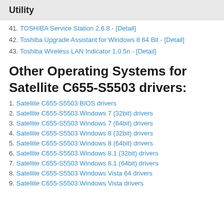Utility
41. TOSHIBA Service Station 2.6.8 - [Detail]
42. Toshiba Upgrade Assistant for Windows 8 64 Bit - [Detail]
43. Toshiba Wireless LAN Indicator 1.0.5n - [Detail]
Other Operating Systems for Satellite C655-S5503 drivers:
1. Satellite C655-S5503 BIOS drivers
2. Satellite C655-S5503 Windows 7 (32bit) drivers
3. Satellite C655-S5503 Windows 7 (64bit) drivers
4. Satellite C655-S5503 Windows 8 (32bit) drivers
5. Satellite C655-S5503 Windows 8 (64bit) drivers
6. Satellite C655-S5503 Windows 8.1 (32bit) drivers
7. Satellite C655-S5503 Windows 8.1 (64bit) drivers
8. Satellite C655-S5503 Windows Vista 64 drivers
9. Satellite C655-S5503 Windows Vista drivers